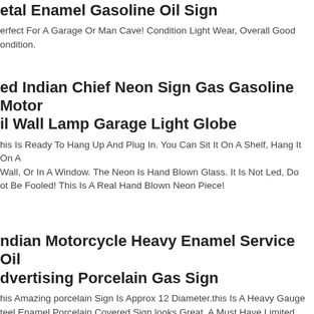Metal Enamel Gasoline Oil Sign
Perfect For A Garage Or Man Cave! Condition Light Wear, Overall Good Condition.
Red Indian Chief Neon Sign Gas Gasoline Motor Oil Wall Lamp Garage Light Globe
This Is Ready To Hang Up And Plug In. You Can Sit It On A Shelf, Hang It On A Wall, Or In A Window. The Neon Is Hand Blown Glass. It Is Not Led, Do Not Be Fooled! This Is A Real Hand Blown Neon Piece!
Indian Motorcycle Heavy Enamel Service Oil Advertising Porcelain Gas Sign
This Amazing porcelain Sign Is Approx 12 Diameter.this Is A Heavy Gauge Steel Enamel Porcelain Covered Sign.looks Great. A Must Have Limited Production Sign.check The Pictures. Will Look Great On Any Garage, Man Cave Or Any Other Space.ships From Usa Via Usps Priority Mail.please Let Me Know Is You Have Any Questions.thanks!!!!!